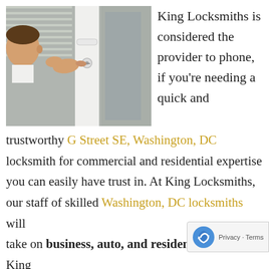[Figure (photo): A man closely examining and picking a white door lock with a tool, shown in profile view.]
King Locksmiths is considered the provider to phone, if you're needing a quick and trustworthy G Street SE, Washington, DC locksmith for commercial and residential expertise you can easily have trust in. At King Locksmiths, our staff of skilled Washington, DC locksmiths will take on business, auto, and residential tasks. King Locksmith's service is fast and pleasant, you'll be able to depend on King Locksmith 24/7. When y... able to...